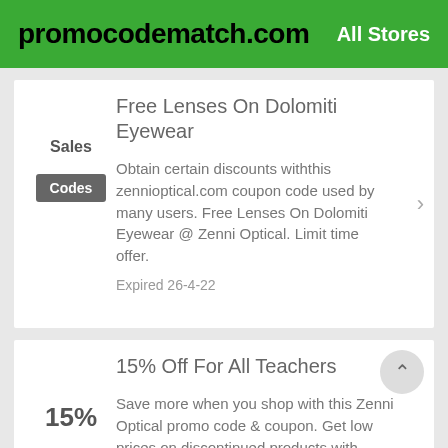promocodematch.com  All Stores
Free Lenses On Dolomiti Eyewear
Sales
Codes
Obtain certain discounts withthis zennioptical.com coupon code used by many users. Free Lenses On Dolomiti Eyewear @ Zenni Optical. Limit time offer.
Expired 26-4-22
15% Off For All Teachers
15%
Save more when you shop with this Zenni Optical promo code & coupon. Get low prices on discontinued products with verified Zenni Optical promo code & HotDeal